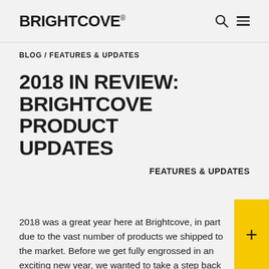BRIGHTCOVE® | search | menu
BLOG / FEATURES & UPDATES
2018 IN REVIEW: BRIGHTCOVE PRODUCT UPDATES
FEATURES & UPDATES
2018 was a great year here at Brightcove, in part due to the vast number of products we shipped to the market. Before we get fully engrossed in an exciting new year, we wanted to take a step back and do a quick recap on some of our favorite launches and